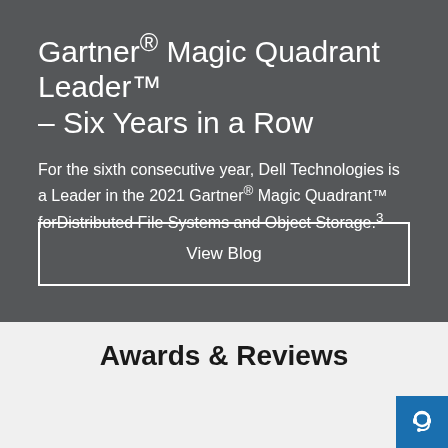Gartner® Magic Quadrant Leader™ – Six Years in a Row
For the sixth consecutive year, Dell Technologies is a Leader in the 2021 Gartner® Magic Quadrant™ forDistributed File Systems and Object Storage.³
View Blog
Awards & Reviews
[Figure (logo): Trustradius blue circular logo with star/cookie icon]
[Figure (other): Small document icon]
2020 Market Leader: Dell Technologies
[Figure (other): Blue support/headset button in bottom right corner]